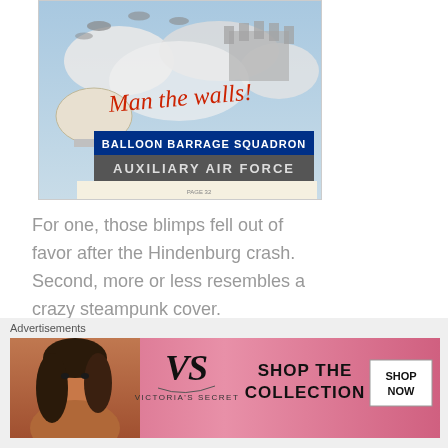[Figure (illustration): WWII-era recruitment poster showing blimps/barrage balloons in cloudy sky above a castle/fortification, with red cursive text 'Man the walls!' and bold blue text 'BALLOON BARRAGE SQUADRON AUXILIARY AIR FORCE']
For one, those blimps fell out of favor after the Hindenburg crash. Second, more or less resembles a crazy steampunk cover.
39. Enlist in the Navy to help your country.
[Figure (illustration): Top portion of a Navy recruitment poster with a blue header bar visible]
Advertisements
[Figure (illustration): Victoria's Secret advertisement banner showing a woman model, VS logo, text 'SHOP THE COLLECTION' and a 'SHOP NOW' button]